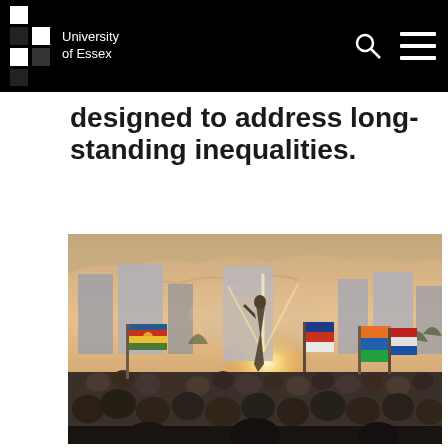University of Essex
designed to address long-standing inequalities.
[Figure (photo): A large crowd of protesters gathered outdoors at dusk or dawn, with colorful flags including an indigenous Mapuche flag, city skyscrapers in the background, and sunlight breaking through smoke or haze above the crowd.]